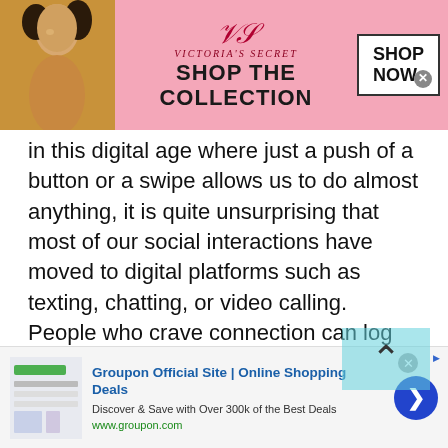[Figure (screenshot): Victoria's Secret advertisement banner with pink background, model photo on left, VS logo and script, 'SHOP THE COLLECTION' text, and white 'SHOP NOW' button with close X]
in this digital age where just a push of a button or a swipe allows us to do almost anything, it is quite unsurprising that most of our social interactions have moved to digital platforms such as texting, chatting, or video calling. People who crave connection can log onto Talkwithstranger, a site for Croatian Talk whenever, and wherever they want.

The platform brings tremendous advantages to its users which explains the rapid growth of users on a daily basis. Here is why users pick our online chatting platform to
[Figure (screenshot): Scroll-to-top button overlay with teal/cyan background and upward chevron arrow]
[Figure (screenshot): Groupon Official Site advertisement with thumbnail showing deals website, title 'Groupon Official Site | Online Shopping Deals', description 'Discover & Save with Over 300k of the Best Deals', URL www.groupon.com, blue circular arrow button on right, AdChoices icon]